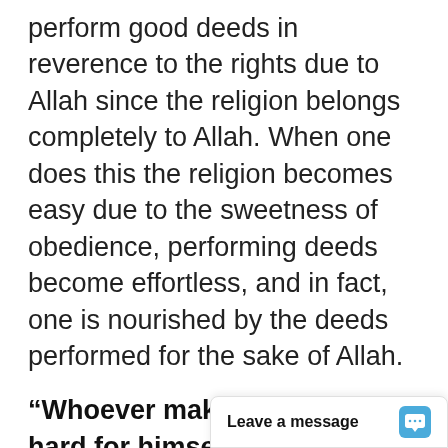perform good deeds in reverence to the rights due to Allah since the religion belongs completely to Allah. When one does this the religion becomes easy due to the sweetness of obedience, performing deeds become effortless, and in fact, one is nourished by the deeds performed for the sake of Allah.
“Whoever makes the deen too hard for himself will be overpowered (...)”
Ibn Hajar says that it means that whoever overburdens himself by excess in performing religious deeds without being gentle (on himself) will be incapacitated (to continue), cut off and therefore overpowered.
Ibn Hajar cites th